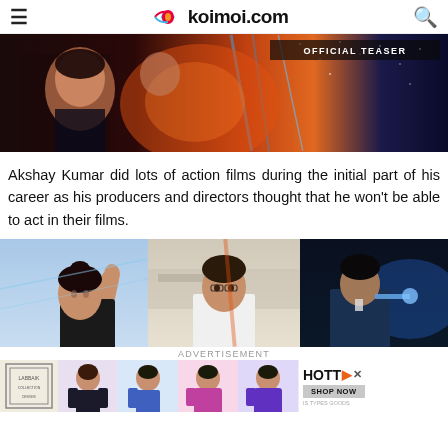koimoi.com
[Figure (photo): Movie teaser banner with actress and sci-fi/space background with 'OFFICIAL TEASER' text overlay]
Akshay Kumar did lots of action films during the initial part of his career as his producers and directors thought that he won't be able to act in their films.
[Figure (photo): Three movie stills: woman pointing, Akshay Kumar near plane, man under blue light]
ADVERTISEMENT
[Figure (photo): Advertisement banner with fashion images and HOTT Shop Now button]